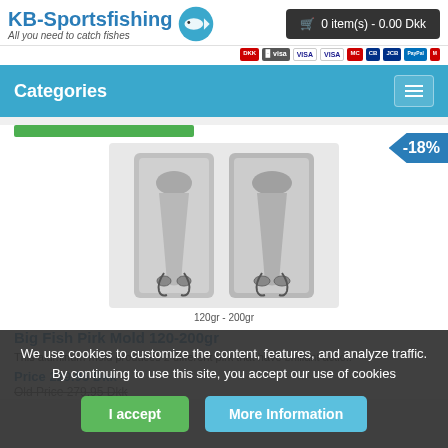KB-Sportsfishing — All you need to catch fishes
0 item(s) - 0.00 Dkk
Categories
[Figure (photo): Photo of Big Fish Pirk Mold showing two metal pirk molds side by side]
120gr - 200gr
Big Fish Pirk Mold 120-200gr
This aluminum mold produces 2 different pirk that have brilliant actio...
Price 229.95 Dkk
Old Price 279.95 Dkk
We use cookies to customize the content, features, and analyze traffic. By continuing to use this site, you accept our use of cookies